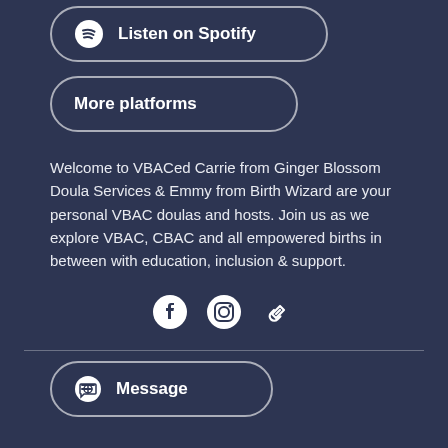[Figure (other): Listen on Spotify button with Spotify logo icon]
[Figure (other): More platforms button]
Welcome to VBACed Carrie from Ginger Blossom Doula Services & Emmy from Birth Wizard are your personal VBAC doulas and hosts. Join us as we explore VBAC, CBAC and all empowered births in between with education, inclusion & support.
[Figure (other): Social media icons: Facebook, Instagram, link]
[Figure (other): Message button with chat icon]